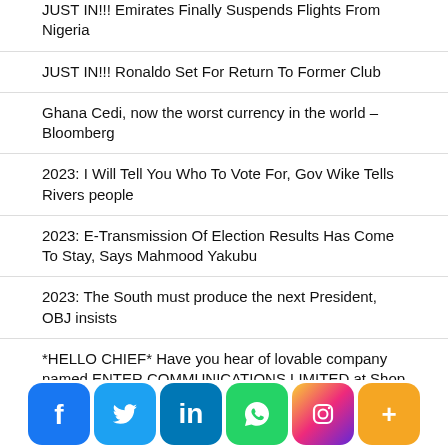JUST IN!!! Emirates Finally Suspends Flights From Nigeria
JUST IN!!! Ronaldo Set For Return To Former Club
Ghana Cedi, now the worst currency in the world – Bloomberg
2023: I Will Tell You Who To Vote For, Gov Wike Tells Rivers people
2023: E-Transmission Of Election Results Has Come To Stay, Says Mahmood Yakubu
2023: The South must produce the next President, OBJ insists
*HELLO CHIEF* Have you hear of lovable company named ENTER COMMUNICATIONS LIMITED at Shop A3, Akinyemi Complex, Ajah Lagos,Nigeria. We're ready to provide you people with great items and repair, you can check out our WhatsApp 0-903-979-00-34 or
[Figure (infographic): Social media share buttons bar: Facebook (blue), Twitter (light blue), LinkedIn (dark blue), WhatsApp (green), Instagram (gradient pink/purple), More/Plus (orange)]